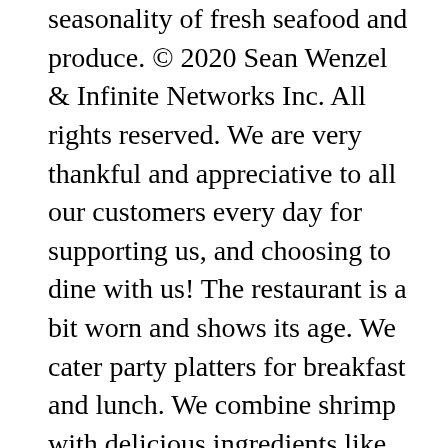seasonality of fresh seafood and produce. © 2020 Sean Wenzel & Infinite Networks Inc. All rights reserved. We are very thankful and appreciative to all our customers every day for supporting us, and choosing to dine with us! The restaurant is a bit worn and shows its age. We cater party platters for breakfast and lunch. We combine shrimp with delicious ingredients like mango, avocado and lemon to create salads that are bright and flavorful. Your recipe for Shrimp Salad sounds pretty much as we make it, except that we DON'T EVER add mustard! Typical of Kibby's, you can't walk in without seeing someone you know and eating something familiar. Come with a choice of two sides. Body shape may be as important as body